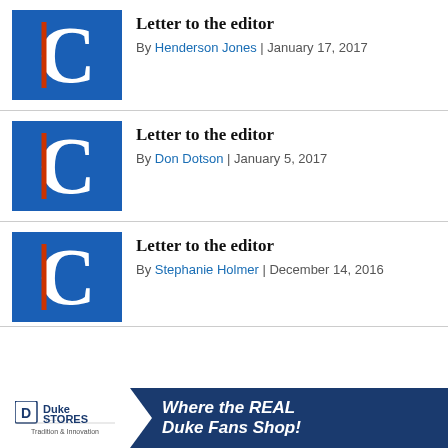[Figure (logo): Blue square with white serif C letter and red accent stripe — newspaper placeholder thumbnail]
Letter to the editor
By Henderson Jones | January 17, 2017
[Figure (logo): Blue square with white serif C letter and red accent stripe — newspaper placeholder thumbnail]
Letter to the editor
By Don Dotson | January 5, 2017
[Figure (logo): Blue square with white serif C letter and red accent stripe — newspaper placeholder thumbnail]
Letter to the editor
By Stephanie Holmer | December 14, 2016
[Figure (advertisement): Duke Stores advertisement banner — Where the REAL Duke Fans Shop!]